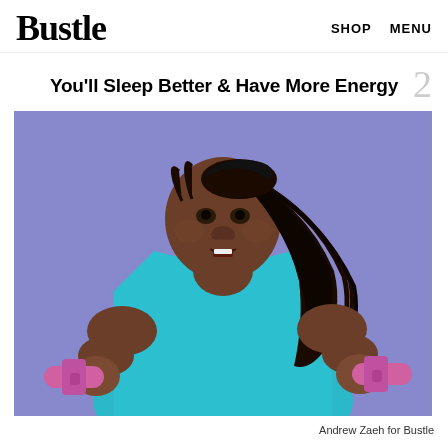Bustle   SHOP   MENU
2
You'll Sleep Better & Have More Energy
[Figure (photo): A Black woman with long braided hair wearing a teal/blue athletic tank top, holding pink dumbbells in both hands, against a purple/lavender background, with a determined expression.]
Andrew Zaeh for Bustle